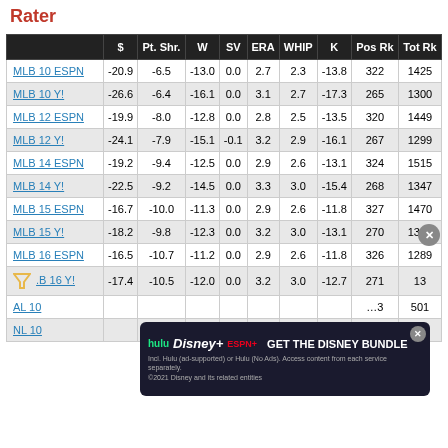Rater
|  | $ | Pt. Shr. | W | SV | ERA | WHIP | K | Pos Rk | Tot Rk |
| --- | --- | --- | --- | --- | --- | --- | --- | --- | --- |
| MLB 10 ESPN | -20.9 | -6.5 | -13.0 | 0.0 | 2.7 | 2.3 | -13.8 | 322 | 1425 |
| MLB 10 Y! | -26.6 | -6.4 | -16.1 | 0.0 | 3.1 | 2.7 | -17.3 | 265 | 1300 |
| MLB 12 ESPN | -19.9 | -8.0 | -12.8 | 0.0 | 2.8 | 2.5 | -13.5 | 320 | 1449 |
| MLB 12 Y! | -24.1 | -7.9 | -15.1 | -0.1 | 3.2 | 2.9 | -16.1 | 267 | 1299 |
| MLB 14 ESPN | -19.2 | -9.4 | -12.5 | 0.0 | 2.9 | 2.6 | -13.1 | 324 | 1515 |
| MLB 14 Y! | -22.5 | -9.2 | -14.5 | 0.0 | 3.3 | 3.0 | -15.4 | 268 | 1347 |
| MLB 15 ESPN | -16.7 | -10.0 | -11.3 | 0.0 | 2.9 | 2.6 | -11.8 | 327 | 1470 |
| MLB 15 Y! | -18.2 | -9.8 | -12.3 | 0.0 | 3.2 | 3.0 | -13.1 | 270 | 1315 |
| MLB 16 ESPN | -16.5 | -10.7 | -11.2 | 0.0 | 2.9 | 2.6 | -11.8 | 326 | 1289 |
| MLB 16 Y! | -17.4 | -10.5 | -12.0 | 0.0 | 3.2 | 3.0 | -12.7 | 271 | 13… |
| AL 10 |  |  |  |  |  |  |  | …3 | 501 |
| NL 10 |  |  |  |  |  |  |  |  |  |